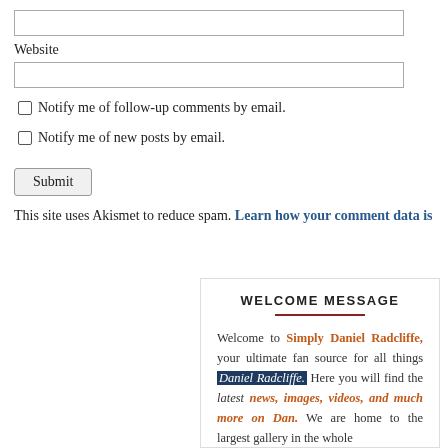[input box - top]
Website
[input box - website]
Notify me of follow-up comments by email.
Notify me of new posts by email.
Submit
This site uses Akismet to reduce spam. Learn how your comment data is
WELCOME MESSAGE
Welcome to Simply Daniel Radcliffe, your ultimate fan source for all things Daniel Radcliffe. Here you will find the latest news, images, videos, and much more on Dan. We are home to the largest gallery in the whole...